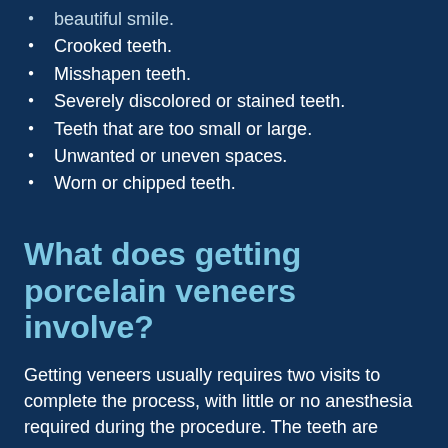beautiful smile.
Crooked teeth.
Misshapen teeth.
Severely discolored or stained teeth.
Teeth that are too small or large.
Unwanted or uneven spaces.
Worn or chipped teeth.
What does getting porcelain veneers involve?
Getting veneers usually requires two visits to complete the process, with little or no anesthesia required during the procedure. The teeth are